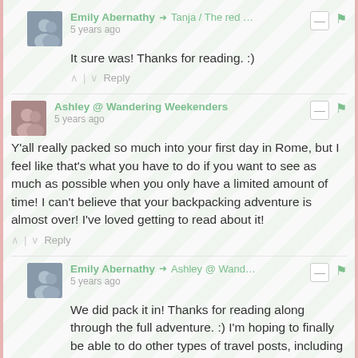Emily Abernathy → Tanja / The red … 5 years ago
It sure was! Thanks for reading. :)
^ | v  Reply
Ashley @ Wandering Weekenders 5 years ago
Y'all really packed so much into your first day in Rome, but I feel like that's what you have to do if you want to see as much as possible when you only have a limited amount of time! I can't believe that your backpacking adventure is almost over! I've loved getting to read about it!
^ | v  Reply
Emily Abernathy → Ashley @ Wand… 5 years ago
We did pack it in! Thanks for reading along through the full adventure. :) I'm hoping to finally be able to do other types of travel posts, including talking about all of our other trips once I'm done with the guides/recaps of our backpacking trip!